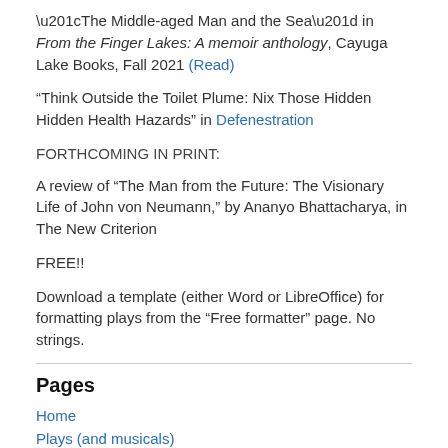“The Middle-aged Man and the Sea” in From the Finger Lakes: A memoir anthology, Cayuga Lake Books, Fall 2021 (Read)
“Think Outside the Toilet Plume: Nix Those Hidden Hidden Health Hazards” in Defenestration
FORTHCOMING IN PRINT:
A review of “The Man from the Future: The Visionary Life of John von Neumann,” by Ananyo Bhattacharya, in The New Criterion
FREE!!
Download a template (either Word or LibreOffice) for formatting plays from the “Free formatter” page. No strings.
Pages
Home
Plays (and musicals)
Nonfiction